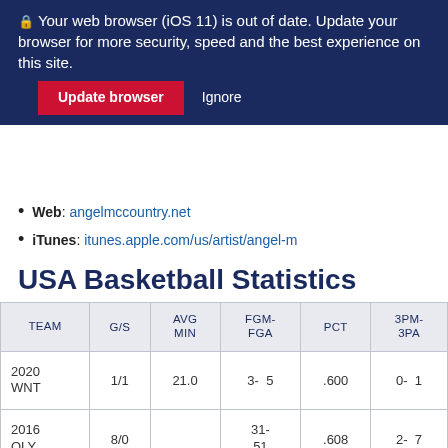🔒 Your web browser (iOS 11) is out of date. Update your browser for more security, speed and the best experience on this site.
Update browser   Ignore
Web: angelmccountry.net
iTunes: itunes.apple.com/us/artist/angel-m
USA Basketball Statistics
| TEAM | G/S | AVG MIN | FGM-FGA | PCT | 3PM-3PA |
| --- | --- | --- | --- | --- | --- |
| 2020 WNT | 1/1 | 21.0 | 3-  5 | .600 | 0-  1 |
| 2016 OLY | 8/0 |  | 31-51 | .608 | 2-  7 |
|  |  |  |  |  |  |